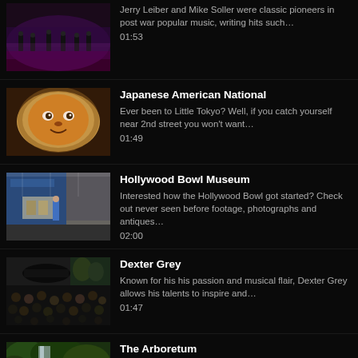Jerry Leiber and Mike Soller were classic pioneers in post war popular music, writing hits such… 01:53
Japanese American National
Ever been to Little Tokyo? Well, if you catch yourself near 2nd street you won't want… 01:49
Hollywood Bowl Museum
Interested how the Hollywood Bowl got started? Check out never seen before footage, photographs and antiques… 02:00
Dexter Grey
Known for his his passion and musical flair, Dexter Grey allows his talents to inspire and… 01:47
The Arboretum
Home of many famous films, The Arboretum allows you to enjoy what is has offer such…